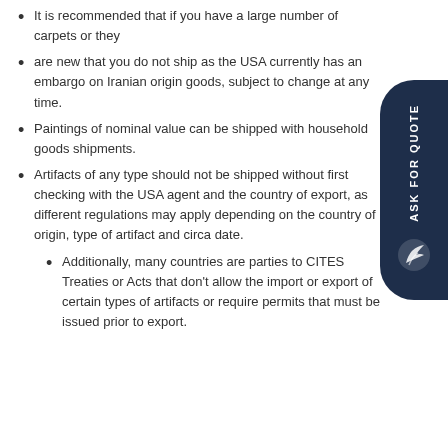It is recommended that if you have a large number of carpets or they
are new that you do not ship as the USA currently has an embargo on Iranian origin goods, subject to change at any time.
Paintings of nominal value can be shipped with household goods shipments.
Artifacts of any type should not be shipped without first checking with the USA agent and the country of export, as different regulations may apply depending on the country of origin, type of artifact and circa date.
Additionally, many countries are parties to CITES Treaties or Acts that don't allow the import or export of certain types of artifacts or require permits that must be issued prior to export.
[Figure (other): ASK FOR QUOTE badge/button - dark navy pill-shaped vertical button on the right side]